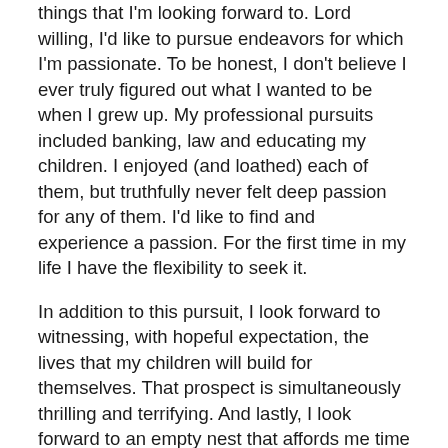things that I'm looking forward to. Lord willing, I'd like to pursue endeavors for which I'm passionate. To be honest, I don't believe I ever truly figured out what I wanted to be when I grew up. My professional pursuits included banking, law and educating my children. I enjoyed (and loathed) each of them, but truthfully never felt deep passion for any of them. I'd like to find and experience a passion. For the first time in my life I have the flexibility to seek it.
In addition to this pursuit, I look forward to witnessing, with hopeful expectation, the lives that my children will build for themselves. That prospect is simultaneously thrilling and terrifying. And lastly, I look forward to an empty nest that affords me time to more closely connect with Benjy.
So, on this 50th birthday, that's a snapshot of my life looking backward and ahead.